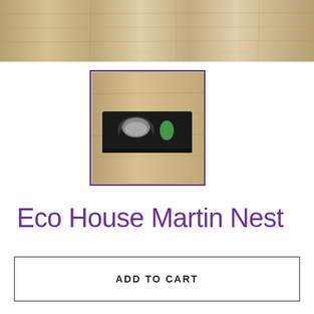[Figure (photo): Wood plank background image strip at top of page]
[Figure (photo): Thumbnail image of Eco House Martin Nest product — a black plastic house martin nest box mounted on wooden planks, with a purple border]
Eco House Martin Nest
£16.99
Tax included.
ADD TO CART